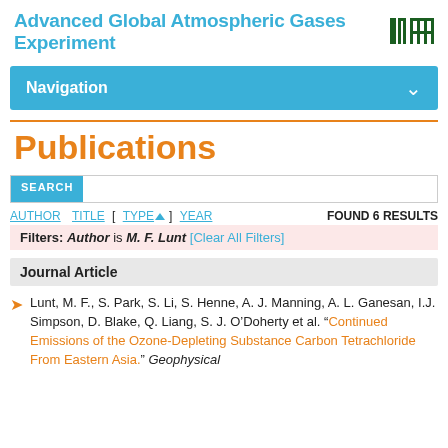Advanced Global Atmospheric Gases Experiment
Navigation
Publications
SEARCH
AUTHOR TITLE [ TYPE ] YEAR    FOUND 6 RESULTS
Filters: Author is M. F. Lunt [Clear All Filters]
Journal Article
Lunt, M. F., S. Park, S. Li, S. Henne, A. J. Manning, A. L. Ganesan, I.J. Simpson, D. Blake, Q. Liang, S. J. O'Doherty et al. "Continued Emissions of the Ozone-Depleting Substance Carbon Tetrachloride From Eastern Asia." Geophysical